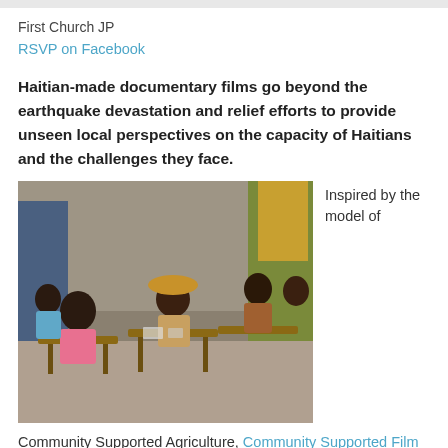First Church JP
RSVP on Facebook
Haitian-made documentary films go beyond the earthquake devastation and relief efforts to provide unseen local perspectives on the capacity of Haitians and the challenges they face.
[Figure (photo): People sitting at wooden desks in a classroom setting, appearing to be students or community members in Haiti.]
Inspired by the model of
Community Supported Agriculture, Community Supported Film (CSFilm) applies the principle of investing in people on the ground by supporting the creation of locally-produced films. The resulting products help nourish a deeper